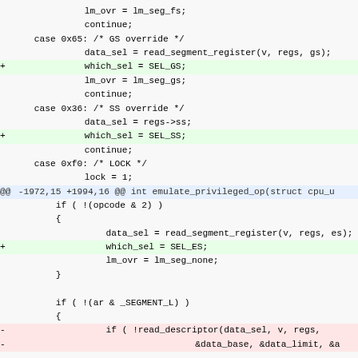Code diff showing changes to emulate_privileged_op function with segment register handling (GS override, SS override, LOCK, ES handling, and descriptor reading)